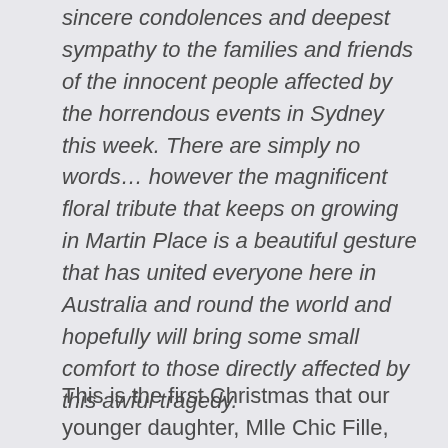sincere condolences and deepest sympathy to the families and friends of the innocent people affected by the horrendous events in Sydney this week. There are simply no words… however the magnificent floral tribute that keeps on growing in Martin Place is a beautiful gesture that has united everyone here in Australia and round the world and hopefully will bring some small comfort to those directly affected by this awful tragedy.
This is the first Christmas that our younger daughter, Mlle Chic Fille,